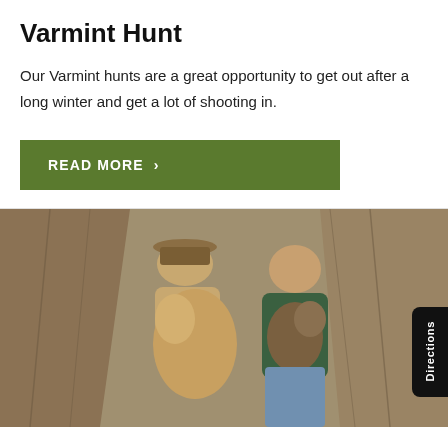Varmint Hunt
Our Varmint hunts are a great opportunity to get out after a long winter and get a lot of shooting in.
[Figure (other): Green button/banner reading READ MORE with a chevron arrow]
[Figure (photo): Two men standing in front of a rocky surface, each holding a large animal (appears to be a mountain lion or similar). Left man wears a hat and tan jacket; right man wears a green jacket. Rocky background.]